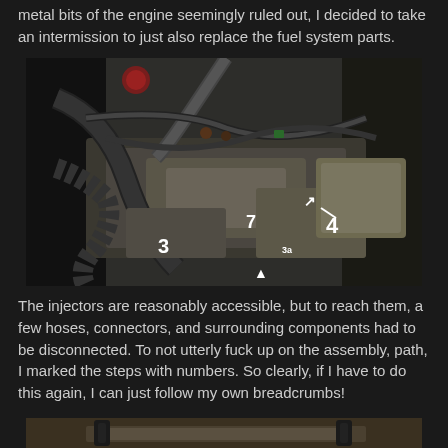metal bits of the engine seemingly ruled out, I decided to take an intermission to just also replace the fuel system parts.
[Figure (photo): Close-up photograph of a car engine bay showing fuel injectors, hoses, connectors, and surrounding components. Numbered markers (1, 2, 3, 4) are visible on the parts indicating disassembly order. The components are metallic with various hoses and wires visible.]
The injectors are reasonably accessible, but to reach them, a few hoses, connectors, and surrounding components had to be disconnected. To not utterly fuck up on the assembly, path, I marked the steps with numbers. So clearly, if I have to do this again, I can just follow my own breadcrumbs!
[Figure (photo): Partial photograph of an engine component, appears to be a fuel rail or similar part, viewed from above on a workshop surface.]